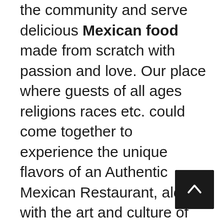the community and serve delicious Mexican food made from scratch with passion and love. Our place where guests of all ages religions races etc. could come together to experience the unique flavors of an Authentic Mexican Restaurant, along with the art and culture of Mexico, made from the heart and crafted with pride from the grandmother's recipes – all in a casual, authentic setting.
Our team members have an incredible sense of pride in